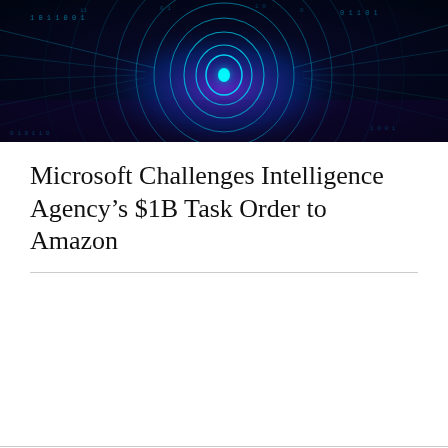[Figure (photo): A digital/cyber themed hero image showing a glowing blue and purple fingerprint or tunnel of light with binary code and digital data streaming patterns, suggesting cybersecurity or intelligence technology.]
Microsoft Challenges Intelligence Agency's $1B Task Order to Amazon